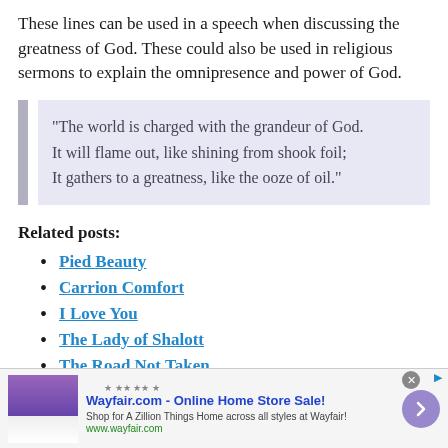These lines can be used in a speech when discussing the greatness of God. These could also be used in religious sermons to explain the omnipresence and power of God.
“The world is charged with the grandeur of God.
It will flame out, like shining from shook foil;
It gathers to a greatness, like the ooze of oil.”
Related posts:
Pied Beauty
Carrion Comfort
I Love You
The Lady of Shalott
The Road Not Taken
[Figure (other): Advertisement banner for Wayfair.com - Online Home Store Sale!]